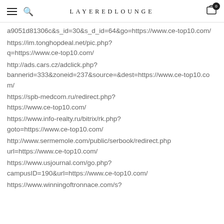LAYEREDLOUNGE
a9051d81306c&s_id=30&s_d_id=64&go=https://www.ce-top10.com/
https://im.tonghopdeal.net/pic.php?q=https://www.ce-top10.com/
http://ads.cars.cz/adclick.php?bannerid=333&zoneid=237&source=&dest=https://www.ce-top10.com/
https://spb-medcom.ru/redirect.php?https://www.ce-top10.com/
https://www.info-realty.ru/bitrix/rk.php?goto=https://www.ce-top10.com/
http://www.sermemole.com/public/serbook/redirect.php?url=https://www.ce-top10.com/
https://www.usjournal.com/go.php?campusID=190&url=https://www.ce-top10.com/
https://www.winningoftronnace.com/s?